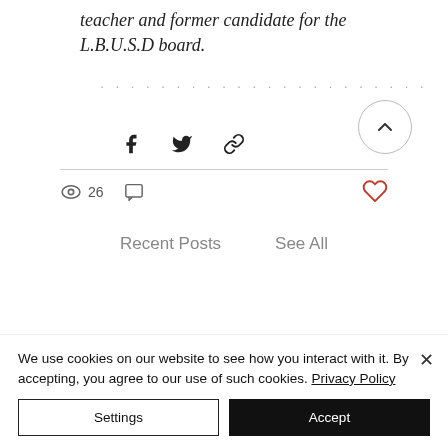teacher and former candidate for the L.B.U.S.D board.
....................
[Figure (illustration): Scroll-to-top button: circle with upward chevron arrow]
[Figure (illustration): Social share icons: Facebook (f), Twitter (bird), Link (chain)]
26 views, comment icon, heart/like icon
Recent Posts
See All
We use cookies on our website to see how you interact with it. By accepting, you agree to our use of such cookies. Privacy Policy
Settings
Accept